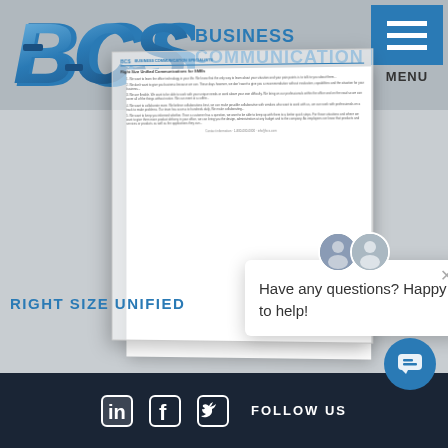[Figure (screenshot): BCS Business Communication Specialists website screenshot showing logo, navigation menu, document preview, right-size unified text, chat popup with avatars, social media footer with LinkedIn, Facebook, Twitter icons and FOLLOW US text]
BUSINESS COMMUNICATION SPECIALISTS
RIGHT SIZE UNIFIED
Have any questions? Happy to help!
FOLLOW US